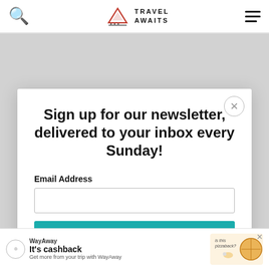Travel Awaits
Sign up for our newsletter, delivered to your inbox every Sunday!
Email Address
SIGN ME UP!
[Figure (screenshot): WayAway advertisement banner: 'It's cashback - Get more from your trip with WayAway' with pizza illustration]